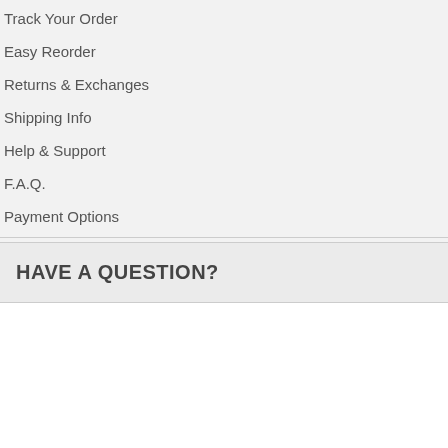Track Your Order
Easy Reorder
Returns & Exchanges
Shipping Info
Help & Support
F.A.Q.
Payment Options
HAVE A QUESTION?